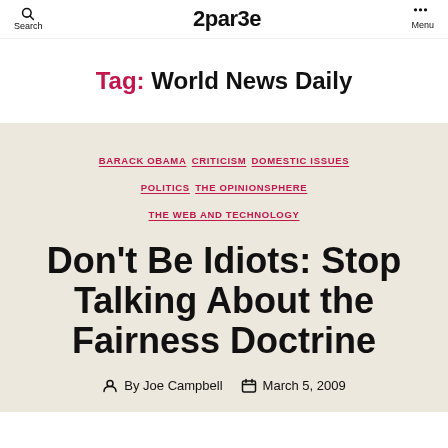Search | 2par3e | Menu
Tag: World News Daily
BARACK OBAMA  CRITICISM  DOMESTIC ISSUES  POLITICS  THE OPINIONSPHERE  THE WEB AND TECHNOLOGY
Don't Be Idiots: Stop Talking About the Fairness Doctrine
By Joe Campbell   March 5, 2009